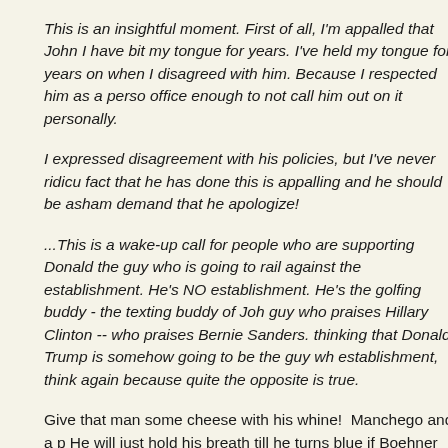This is an insightful moment. First of all, I'm appalled that John I have bit my tongue for years. I've held my tongue for years on when I disagreed with him. Because I respected him as a perso office enough to not call him out on it personally.
I expressed disagreement with his policies, but I've never ridicu fact that he has done this is appalling and he should be asham demand that he apologize!
...This is a wake-up call for people who are supporting Donald the guy who is going to rail against the establishment. He's NO establishment. He's the golfing buddy - the texting buddy of Joh guy who praises Hillary Clinton -- who praises Bernie Sanders. thinking that Donald Trump is somehow going to be the guy wh establishment, think again because quite the opposite is true.
Give that man some cheese with his whine!  Manchego and a p He will just hold his breath till he turns blue if Boehner doesn't a sensitive soul, that Mike Lee, at least when it comes to his frien presidential candidate, who led the government shutdown in 20 Care Act. But the Utah Republican should realize, as the Atlant